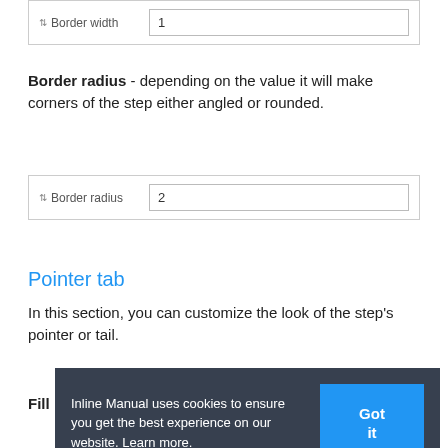[Figure (screenshot): Form field showing 'Border width' label with value '1' in an input box]
Border radius - depending on the value it will make corners of the step either angled or rounded.
[Figure (screenshot): Form field showing 'Border radius' label with value '2' in an input box]
Pointer tab
In this section, you can customize the look of the step's pointer or tail.
Fill
[Figure (screenshot): Cookie banner overlay: 'Inline Manual uses cookies to ensure you get the best experience on our website. Learn more.' with 'Got it' button. Below shows Filling color with blue color swatch.]